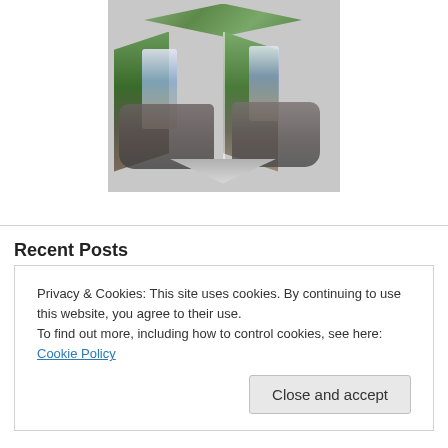[Figure (photo): A 3D cube photo effect showing a person riding an elephant in a lush green forest setting, rendered as a three-faced isometric cube with the image tiled across the faces.]
More Photos
Recent Posts
Privacy & Cookies: This site uses cookies. By continuing to use this website, you agree to their use.
To find out more, including how to control cookies, see here: Cookie Policy
Close and accept